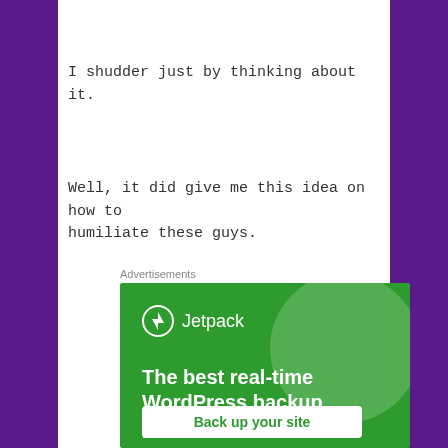I shudder just by thinking about it.
Well, it did give me this idea on how to humiliate these guys.
Advertisements
[Figure (screenshot): Jetpack advertisement banner with green background showing logo, headline 'The best real-time WordPress backup plugin', and 'Back up your site' button]